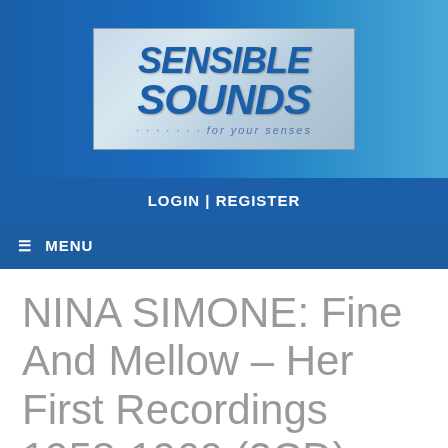[Figure (logo): Sensible Sounds website logo with tagline 'for your senses' on a blue gradient background]
LOGIN | REGISTER
☰ MENU
NINA SIMONE: Fine And Mellow – Her First Recordings 1958-1960 (2CD)
28 December 2021